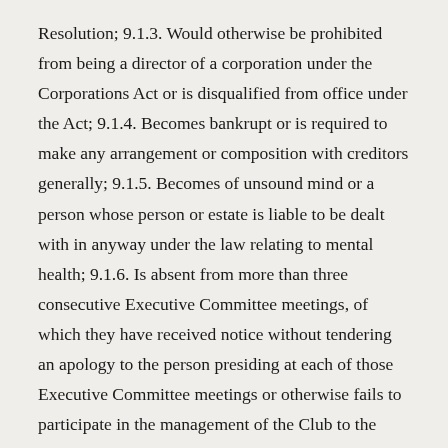Resolution; 9.1.3. Would otherwise be prohibited from being a director of a corporation under the Corporations Act or is disqualified from office under the Act; 9.1.4. Becomes bankrupt or is required to make any arrangement or composition with creditors generally; 9.1.5. Becomes of unsound mind or a person whose person or estate is liable to be dealt with in anyway under the law relating to mental health; 9.1.6. Is absent from more than three consecutive Executive Committee meetings, of which they have received notice without tendering an apology to the person presiding at each of those Executive Committee meetings or otherwise fails to participate in the management of the Club to the satisfaction of the Executive Committee following and inquiry process of natural justice; 9.1.7. if found to be an undischarged Bankrupt and does not declare their Bankruptcy to the Executive Committee or offer their resignation; 9.1.8. Breaches Committee confidentiality such that the breach poses serious and indefensible